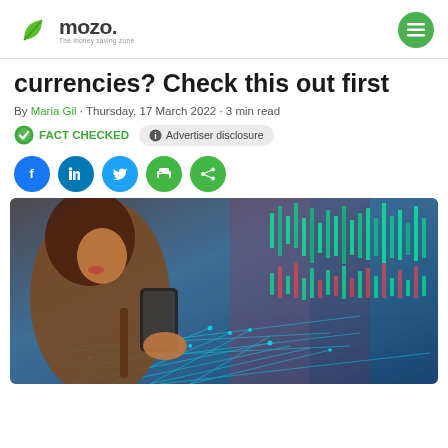mozo — The money saving zone
currencies? Check this out first
By Maria Gil · Thursday, 17 March 2022 · 3 min read
FACT CHECKED   Advertiser disclosure
[Figure (other): Social share buttons: Facebook, LinkedIn, Twitter, Print, Share]
[Figure (photo): Woman looking at smartphone with digital financial market data overlay showing candlestick charts and glowing network connections in blue tones]